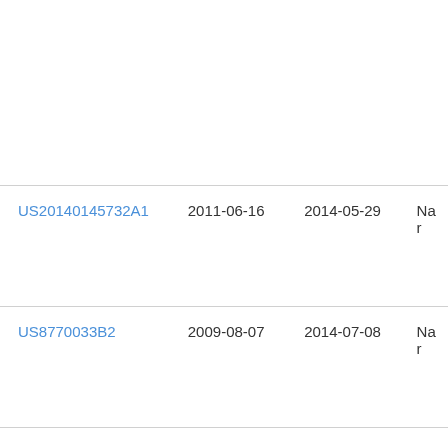| Publication Number | Filing Date | Publication Date | Assignee/Title |
| --- | --- | --- | --- |
| US20140145732A1 | 2011-06-16 | 2014-05-29 | Na... |
| US8770033B2 | 2009-08-07 | 2014-07-08 | Na... |
| US20140240280A1 | 2013-02-28 | 2014-08-28 | Ma... Pro... |